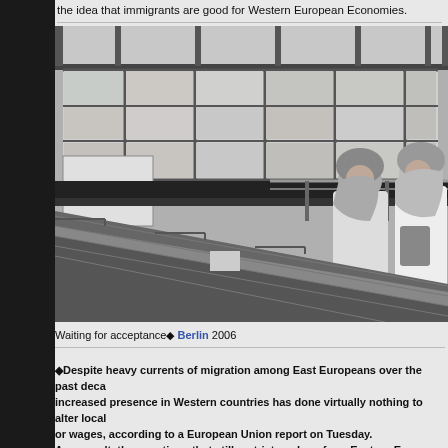the idea that immigrants are good for Western European Economies.
[Figure (photo): Black and white photograph of two women wearing headscarves standing on an escalator platform at what appears to be a Berlin transit station with large industrial windows in the background. Caption: Waiting for acceptance Berlin 2006]
Waiting for acceptance◆ Berlin 2006
◆Despite heavy currents of migration among East Europeans over the past deca... increased presence in Western countries has done virtually nothing to alter local... or wages, according to a European Union report on Tuesday. As a result, those nations that still restrict workers from Eastern Europe should a... curbs, the European Commission said.